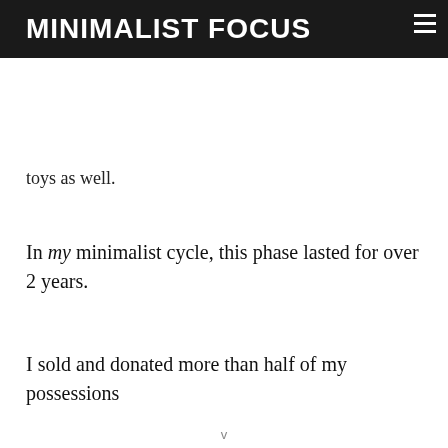MINIMALIST FOCUS
toys as well.
In my minimalist cycle, this phase lasted for over 2 years.
I sold and donated more than half of my possessions